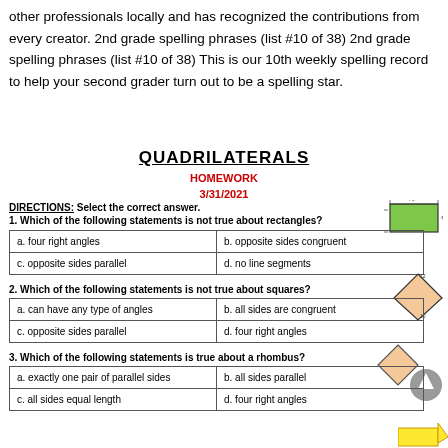other professionals locally and has recognized the contributions from every creator. 2nd grade spelling phrases (list #10 of 38) 2nd grade spelling phrases (list #10 of 38) This is our 10th weekly spelling record to help your second grader turn out to be a spelling star.
QUADRILATERALS
HOMEWORK
3/31/2021
DIRECTIONS: Select the correct answer.
1. Which of the following statements is not true about rectangles?
| a. four right angles | b. opposite sides congruent |
| c. opposite sides parallel | d. no line segments |
2. Which of the following statements is not true about squares?
| a. can have any type of angles | b. all sides are congruent |
| c. opposite sides parallel | d. four right angles |
3. Which of the following statements is true about a rhombus?
| a. exactly one pair of parallel sides | b. all sides parallel |
| c. all sides equal length | d. four right angles |